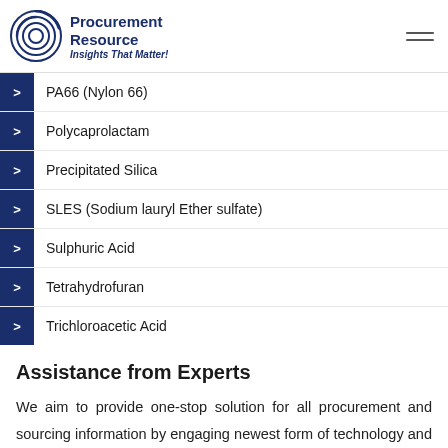Procurement Resource — Insights That Matter!
PA66 (Nylon 66)
Polycaprolactam
Precipitated Silica
SLES (Sodium lauryl Ether sulfate)
Sulphuric Acid
Tetrahydrofuran
Trichloroacetic Acid
Assistance from Experts
We aim to provide one-stop solution for all procurement and sourcing information by engaging newest form of technology and methodology. Our team of analysts offers compete and all-round support and are ready with answers to any questions related to the reports after they